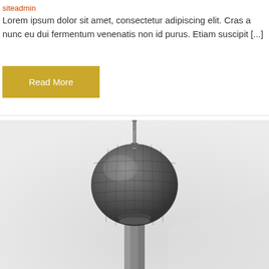siteadmin
Lorem ipsum dolor sit amet, consectetur adipiscing elit. Cras a nunc eu dui fermentum venenatis non id purus. Etiam suscipit [...]
Read More
[Figure (photo): Black and white close-up photograph looking up at the Berlin TV Tower (Fernsehturm), showing the spherical observation deck and antenna from below against a light grey sky.]